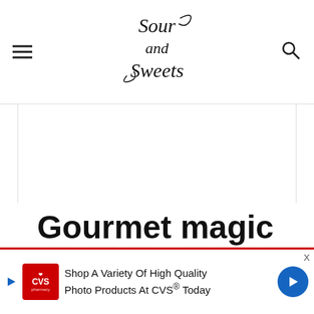Sour and Sweets
[Figure (illustration): Large white/blank content area placeholder for article image]
Gourmet magic bars
Shop A Variety Of High Quality Photo Products At CVS® Today